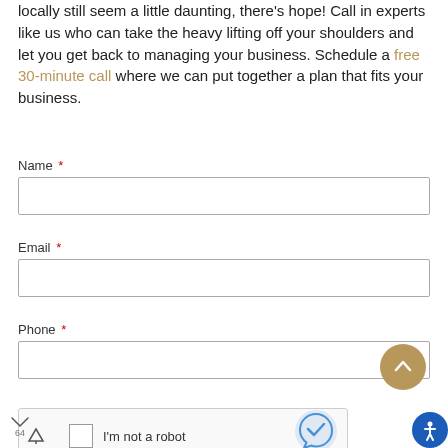locally still seem a little daunting, there's hope! Call in experts like us who can take the heavy lifting off your shoulders and let you get back to managing your business. Schedule a free 30-minute call where we can put together a plan that fits your business.
Name *
Email *
Phone *
[Figure (screenshot): reCAPTCHA widget with checkbox, 'I'm not a robot' text, and reCAPTCHA logo]
[Figure (other): Scroll to top button - circular tan/gold button with upward arrow]
[Figure (other): Accessibility button - circular blue button with person icon]